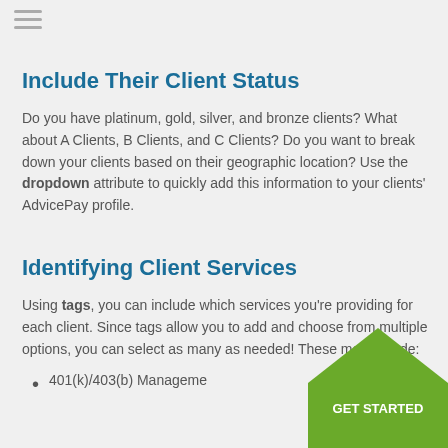Include Their Client Status
Do you have platinum, gold, silver, and bronze clients? What about A Clients, B Clients, and C Clients? Do you want to break down your clients based on their geographic location? Use the dropdown attribute to quickly add this information to your clients' AdvicePay profile.
Identifying Client Services
Using tags, you can include which services you're providing for each client. Since tags allow you to add and choose from multiple options, you can select as many as needed! These may include:
401(k)/403(b) Management
[Figure (illustration): Green pentagon badge with white text reading GET STARTED in the bottom right corner of the page]